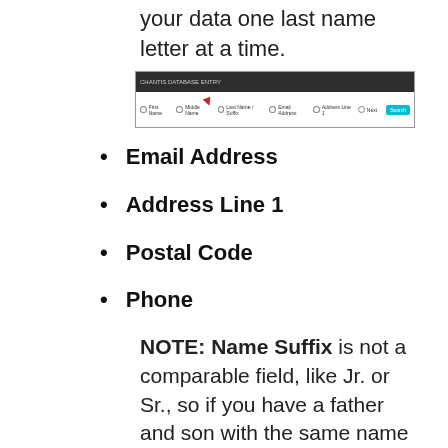your data one last name letter at a time.
[Figure (screenshot): A browser interface screenshot showing navigation tabs and a cursor arrow.]
Email Address
Address Line 1
Postal Code
Phone
NOTE: Name Suffix is not a comparable field, like Jr. or Sr., so if you have a father and son with the same name in the database, and they live at the same address, they will return in your report results as a potential duplicate